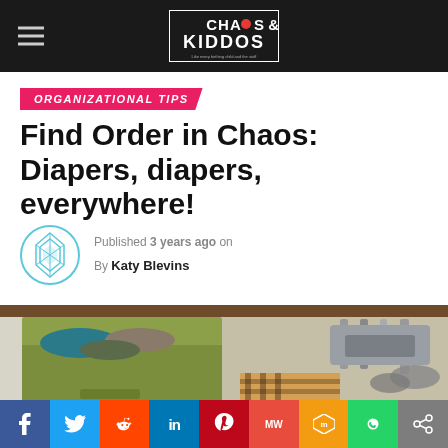Chaos & Kiddos
ORGANIZATIONAL TIPS
Find Order in Chaos: Diapers, diapers, everywhere!
Published 3 years ago on
By Katy Blevins
[Figure (photo): A green fabric storage cube filled with folded clothes on a closet shelf, with hanging clothes and shoes visible in the background]
Social share bar: Facebook, Twitter, Reddit, LinkedIn, Pinterest, MeWe, Mix, WhatsApp, Share